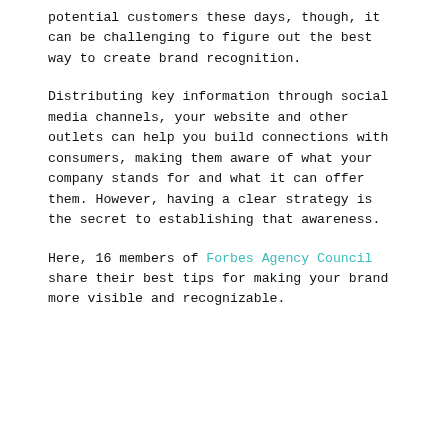potential customers these days, though, it can be challenging to figure out the best way to create brand recognition.
Distributing key information through social media channels, your website and other outlets can help you build connections with consumers, making them aware of what your company stands for and what it can offer them. However, having a clear strategy is the secret to establishing that awareness.
Here, 16 members of Forbes Agency Council share their best tips for making your brand more visible and recognizable.